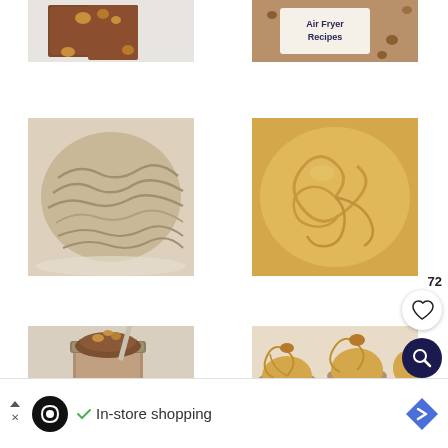[Figure (photo): Partially visible photo of chocolate brownie with walnuts on white background]
[Figure (photo): Partially visible photo with text overlay 'Air Fryer Recipes' on beige background with nuts]
[Figure (photo): Photo of shredded chicken or meat in beige/tan tones on white plate]
[Figure (photo): Close-up macro photo of creamy swirled frosting or batter in golden/tan color]
[Figure (photo): Photo of a jar with brown/chocolate ice cream or butter with walnuts]
[Figure (photo): Photo of cupcakes with swirled frosting and walnut toppings]
72
[Figure (infographic): Heart/like button icon in white circle]
[Figure (infographic): Search/magnifying glass icon in dark navy circle]
In-store shopping